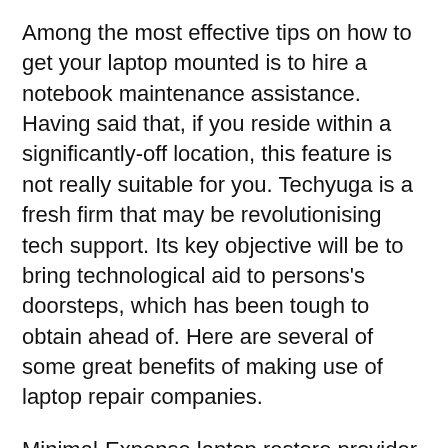Among the most effective tips on how to get your laptop mounted is to hire a notebook maintenance assistance. Having said that, if you reside within a significantly-off location, this feature is not really suitable for you. Techyuga is a fresh firm that may be revolutionising tech support. Its key objective will be to bring technological aid to persons's doorsteps, which has been tough to obtain ahead of. Here are several of some great benefits of making use of laptop repair companies.
Minimal-Expense laptop restore provider is an added advantage of applying Techyuga. Its providers protect all well-liked and lesser-identified laptop computer makes and versions. These specialists also supply solutions including method updates, driver installations, and OS re-set up. Warranty upgrades and extensions can also be readily available. The support is on the market in Kolkata. It's got in excess of ten thousand happy customers in the town. So, you won't need to be concerned about your laptop any more